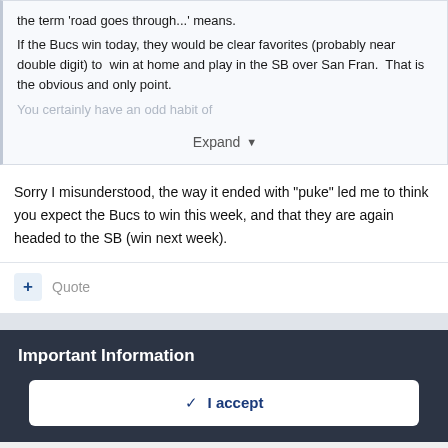the term 'road goes through...' means.
If the Bucs win today, they would be clear favorites (probably near double digit) to win at home and play in the SB over San Fran.  That is the obvious and only point.
You certainly have an odd habit of
Expand
Sorry I misunderstood, the way it ended with "puke" led me to think you expect the Bucs to win this week, and that they are again headed to the SB (win next week).
+ Quote
Important Information
✓  I accept